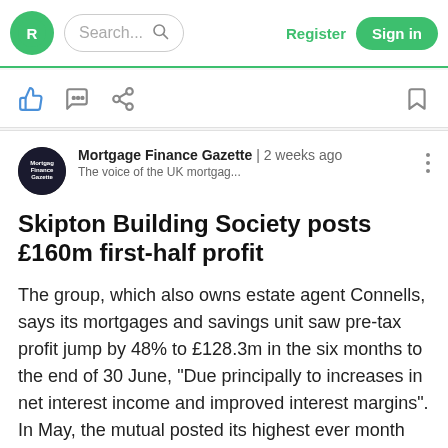Rightmove | Search... | Register | Sign in
[Figure (screenshot): Social action bar with thumbs up, comment, share, and bookmark icons]
Mortgage Finance Gazette | 2 weeks ago
The voice of the UK mortgag...
Skipton Building Society posts £160m first-half profit
The group, which also owns estate agent Connells, says its mortgages and savings unit saw pre-tax profit jump by 48% to £128.3m in the six months to the end of 30 June, "Due principally to increases in net interest income and improved interest margins". In May, the mutual posted its highest ever month for mortgage applications, totalling £1.1bn. It also approved mortgages to 6,200 first-time buyers